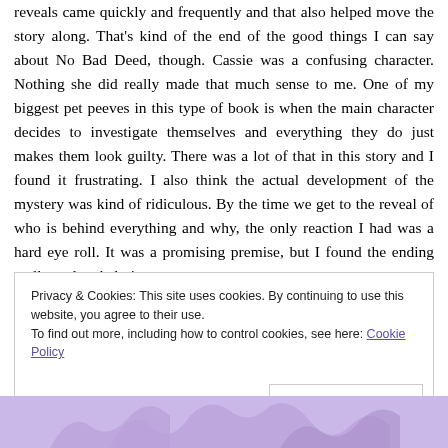reveals came quickly and frequently and that also helped move the story along. That's kind of the end of the good things I can say about No Bad Deed, though. Cassie was a confusing character. Nothing she did really made that much sense to me. One of my biggest pet peeves in this type of book is when the main character decides to investigate themselves and everything they do just makes them look guilty. There was a lot of that in this story and I found it frustrating. I also think the actual development of the mystery was kind of ridiculous. By the time we get to the reveal of who is behind everything and why, the only reaction I had was a hard eye roll. It was a promising premise, but I found the ending really underwhelming.
Privacy & Cookies: This site uses cookies. By continuing to use this website, you agree to their use.
To find out more, including how to control cookies, see here: Cookie Policy
[Figure (illustration): Purple decorative illustration at the bottom of the page]